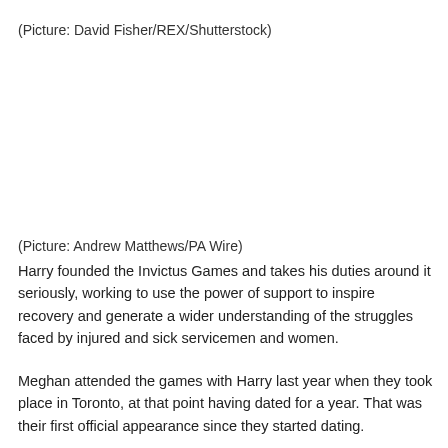(Picture: David Fisher/REX/Shutterstock)
(Picture: Andrew Matthews/PA Wire)
Harry founded the Invictus Games and takes his duties around it seriously, working to use the power of support to inspire recovery and generate a wider understanding of the struggles faced by injured and sick servicemen and women.
Meghan attended the games with Harry last year when they took place in Toronto, at that point having dated for a year. That was their first official appearance since they started dating.